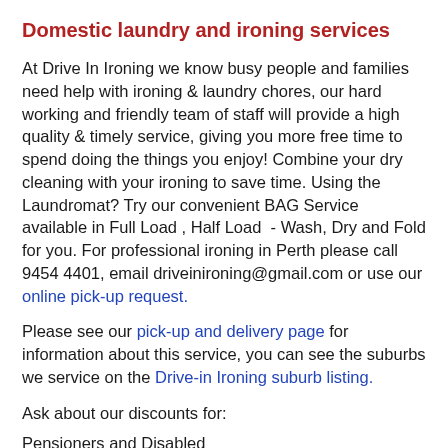Domestic laundry and ironing services
At Drive In Ironing we know busy people and families need help with ironing & laundry chores, our hard working and friendly team of staff will provide a high quality & timely service, giving you more free time to spend doing the things you enjoy! Combine your dry cleaning with your ironing to save time. Using the Laundromat? Try our convenient BAG Service available in Full Load , Half Load  - Wash, Dry and Fold for you. For professional ironing in Perth please call 9454 4401, email driveinironing@gmail.com or use our online pick-up request.
Please see our pick-up and delivery page for information about this service, you can see the suburbs we service on the Drive-in Ironing suburb listing.
Ask about our discounts for:
Pensioners and Disabled
Police and Nurses